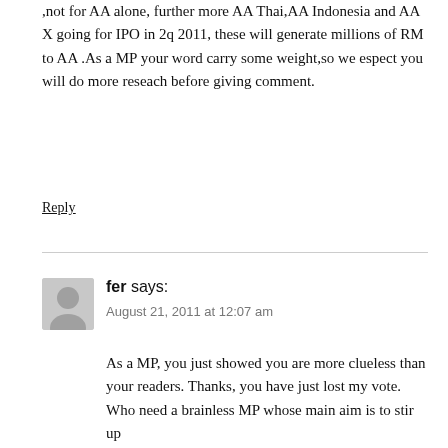,not for AA alone, further more AA Thai,AA Indonesia and AA X going for IPO in 2q 2011, these will generate millions of RM to AA .As a MP your word carry some weight,so we espect you will do more reseach before giving comment.
Reply
fer says:
August 21, 2011 at 12:07 am
As a MP, you just showed you are more clueless than your readers. Thanks, you have just lost my vote. Who need a brainless MP whose main aim is to stir up